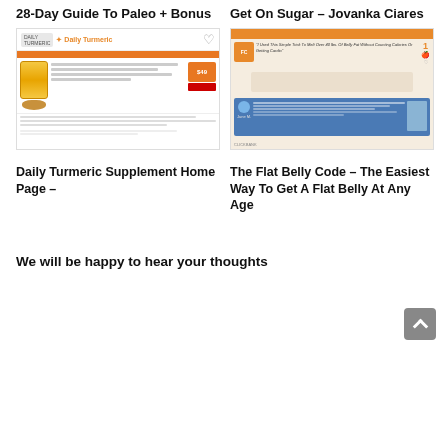28-Day Guide To Paleo + Bonus
Get On Sugar – Jovanka Ciares
[Figure (screenshot): Daily Turmeric supplement website screenshot showing bottle and product info]
[Figure (screenshot): The Flat Belly Code website screenshot with testimonials and social proof]
Daily Turmeric Supplement Home Page –
The Flat Belly Code – The Easiest Way To Get A Flat Belly At Any Age
We will be happy to hear your thoughts